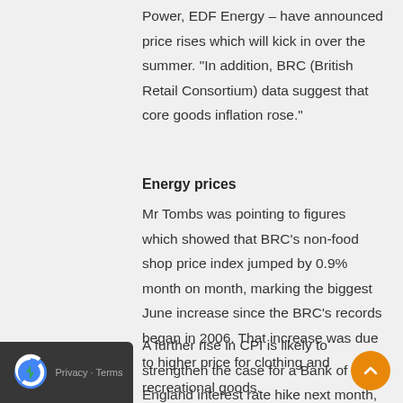Power, EDF Energy – have announced price rises which will kick in over the summer. "In addition, BRC (British Retail Consortium) data suggest that core goods inflation rose."
Energy prices
Mr Tombs was pointing to figures which showed that BRC's non-food shop price index jumped by 0.9% month on month, marking the biggest June increase since the BRC's records began in 2006. That increase was due to higher price for clothing and recreational goods.
A further rise in CPI is likely to strengthen the case for a Bank of England interest rate hike next month, though concerns that prices are